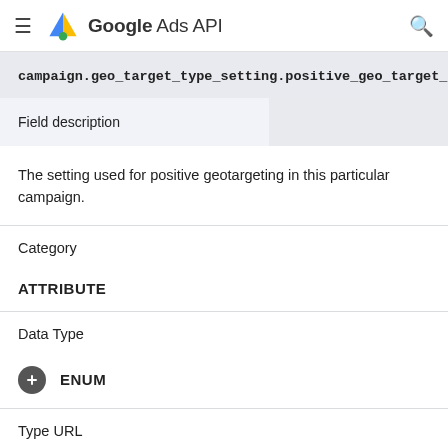Google Ads API
| campaign.geo_target_type_setting.positive_geo_target_type |  |
| --- | --- |
| Field description |  |
| Category |  |
| ATTRIBUTE |  |
| Data Type |  |
| ENUM |  |
| Type URL |  |
| google.ads.googleads.v10.enums.PositiveGeoTargetTypeEnum.PositiveGeoTargetType |  |
| Filterable |  |
The setting used for positive geotargeting in this particular campaign.